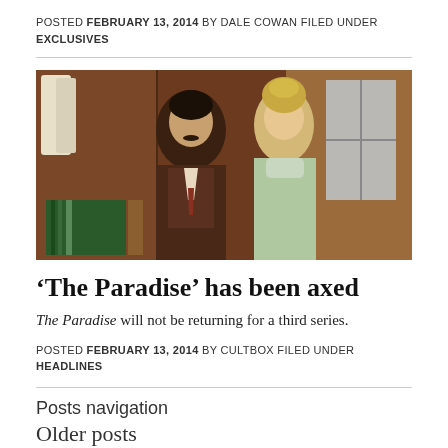POSTED FEBRUARY 13, 2014 BY DALE COWAN FILED UNDER EXCLUSIVES
[Figure (photo): A man and woman in period Victorian-era costume facing each other in a wood-panelled room, a still from 'The Paradise' TV series.]
‘The Paradise’ has been axed
The Paradise will not be returning for a third series.
POSTED FEBRUARY 13, 2014 BY CULTBOX FILED UNDER HEADLINES
Posts navigation
Older posts